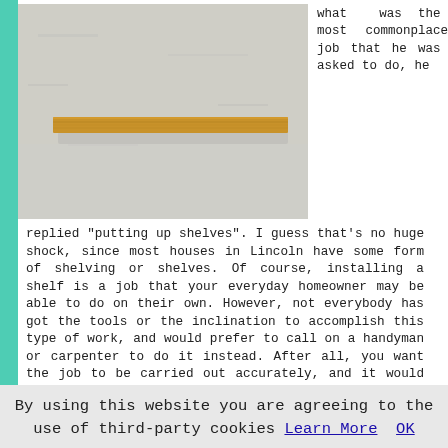[Figure (photo): A wooden shelf mounted on a light grey/white textured wall, viewed from slightly below.]
what was the most commonplace job that he was asked to do, he replied "putting up shelves". I guess that's no huge shock, since most houses in Lincoln have some form of shelving or shelves. Of course, installing a shelf is a job that your everyday homeowner may be able to do on their own. However, not everybody has got the tools or the inclination to accomplish this type of work, and would prefer to call on a handyman or carpenter to do it instead. After all, you want the job to be carried out accurately, and it would seem that bringing in an expert is the most reliable way to accomplish this. Needless to say, it isn't just homes in Lincoln that need shelving, business premises and shops also need all kinds of racking and shelving for both displaying and storing their products.
Revamping Your Lincoln Home
By using this website you are agreeing to the use of third-party cookies Learn More   OK